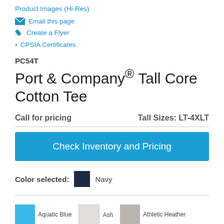Product Images (Hi-Res)
Email this page
Create a Flyer
> CPSIA Certificates
PC54T
Port & Company® Tall Core Cotton Tee
Call for pricing	Tall Sizes: LT-4XLT
Check Inventory and Pricing
Color selected: Navy
Aquatic Blue  Ash  Athletic Heather